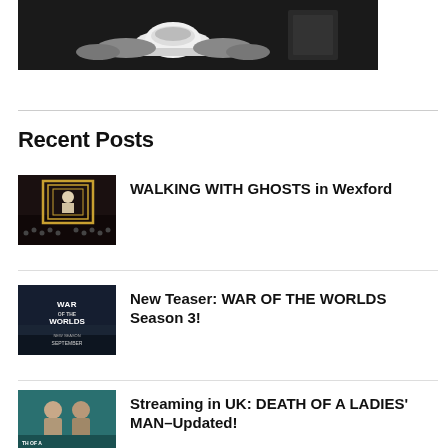[Figure (photo): Black and white photo showing hands holding a white teacup and saucer]
Recent Posts
[Figure (photo): Thumbnail image for WALKING WITH GHOSTS in Wexford - theater scene with person on stage and audience]
WALKING WITH GHOSTS in Wexford
[Figure (photo): Thumbnail image for War of the Worlds Season 3 poster with text NEW SEASON SEPTEMBER]
New Teaser: WAR OF THE WORLDS Season 3!
[Figure (photo): Thumbnail image for Death of a Ladies Man - two people on teal background]
Streaming in UK: DEATH OF A LADIES' MAN–Updated!